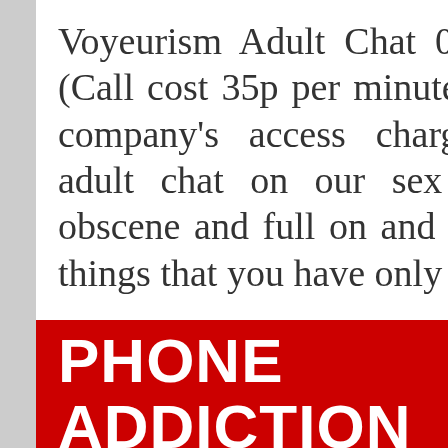Voyeurism Adult Chat 0908 277 0755 (Call cost 35p per minute + your phone company's access charge) Voyeurism adult chat on our sex chat lines is obscene and full on and will let you do things that you have only …
Read more ›
Tagged with: Voyeurism Adult Chat
Posted in 35p Phone Sex, 35p Phone Sex Adult Chat, Anal Adult Phone Sex Chat, Cheap Granny Phone Sex, Granny Phone Sex, Kinky Phone Sex
[Figure (other): Red banner with white bold text reading PHONE ADDICTION on the left and SEX on the right]